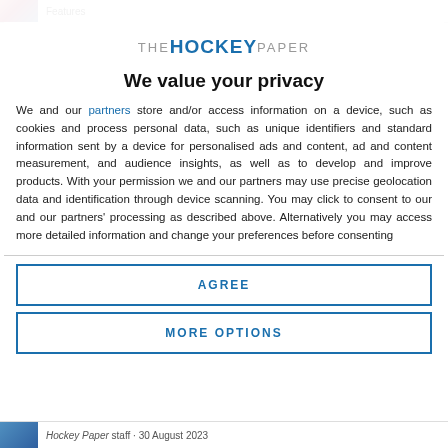Features
[Figure (logo): The Hockey Paper logo — THE in grey, HOCKEY in bold blue, PAPER in grey]
We value your privacy
We and our partners store and/or access information on a device, such as cookies and process personal data, such as unique identifiers and standard information sent by a device for personalised ads and content, ad and content measurement, and audience insights, as well as to develop and improve products. With your permission we and our partners may use precise geolocation data and identification through device scanning. You may click to consent to our and our partners' processing as described above. Alternatively you may access more detailed information and change your preferences before consenting
AGREE
MORE OPTIONS
Hockey Paper staff · 30 August 2023